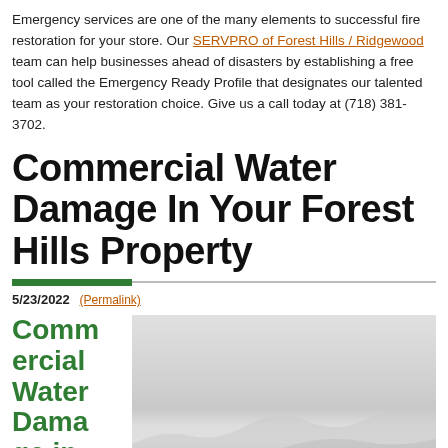Emergency services are one of the many elements to successful fire restoration for your store. Our SERVPRO of Forest Hills / Ridgewood team can help businesses ahead of disasters by establishing a free tool called the Emergency Ready Profile that designates our talented team as your restoration choice. Give us a call today at (718) 381-3702.
Commercial Water Damage In Your Forest Hills Property
5/23/2022 (Permalink)
Commercial Water Damage in Forest
[Figure (photo): Photo showing water damage — a light gray image with layered, torn or peeling surfaces suggesting water-damaged drywall or ceiling material.]